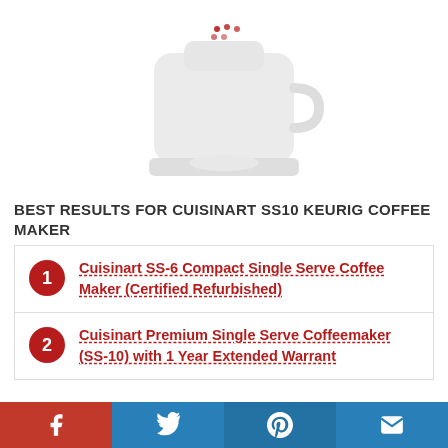[Figure (illustration): Loading spinner dots (crimson) above a faint coffee maker silhouette placeholder on white background]
BEST RESULTS FOR CUISINART SS10 KEURIG COFFEE MAKER
1. Cuisinart SS-6 Compact Single Serve Coffee Maker (Certified Refurbished)
2. Cuisinart Premium Single Serve Coffeemaker (SS-10) with 1 Year Extended Warranty
[Figure (other): Social share bar with Facebook, Twitter, Pinterest, and Email buttons]